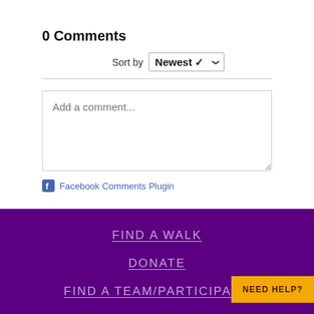0 Comments
Sort by Newest
[Figure (screenshot): Text input box with placeholder 'Add a comment...']
Facebook Comments Plugin
FIND A WALK
DONATE
FIND A TEAM/PARTICIPANT
NEED HELP?